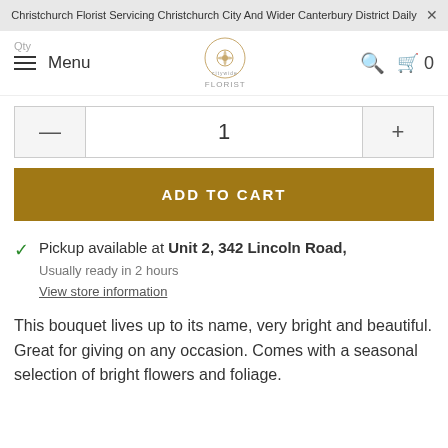Christchurch Florist Servicing Christchurch City And Wider Canterbury District Daily
Qty Menu
1
ADD TO CART
Pickup available at Unit 2, 342 Lincoln Road,
Usually ready in 2 hours
View store information
This bouquet lives up to its name, very bright and beautiful. Great for giving on any occasion. Comes with a seasonal selection of bright flowers and foliage.